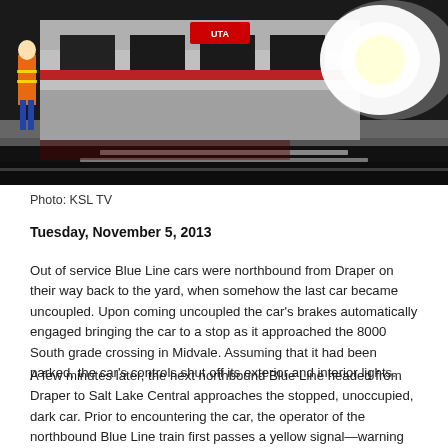[Figure (photo): Night photo of a Blue Line train car on tracks with a person in orange safety vest visible on the left and bright headlights/lights reflecting in the background.]
Photo: KSL TV
Tuesday, November 5, 2013
Out of service Blue Line cars were northbound from Draper on their way back to the yard, when somehow the last car became uncoupled. Upon coming uncoupled the car's brakes automatically engaged bringing the car to a stop as it approached the 8000 South grade crossing in Midvale. Assuming that it had been parked, the car's controls shut off its exterior and interior lights.
A few minutes later, the next northbound Blue Line headed from Draper to Salt Lake Central approaches the stopped, unoccupied, dark car. Prior to encountering the car, the operator of the northbound Blue Line train first passes a yellow signal—warning that the next signal will be red—and then stops just before the red signal. The train's operator radioed the dispatcher for permission to proceed past the red signal